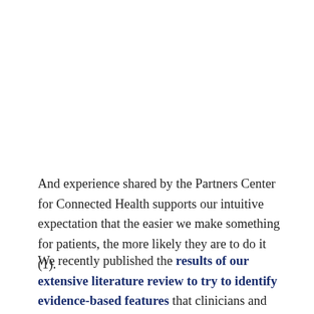And experience shared by the Partners Center for Connected Health supports our intuitive expectation that the easier we make something for patients, the more likely they are to do it (1).
We recently published the results of our extensive literature review to try to identify evidence-based features that clinicians and patients should look for in